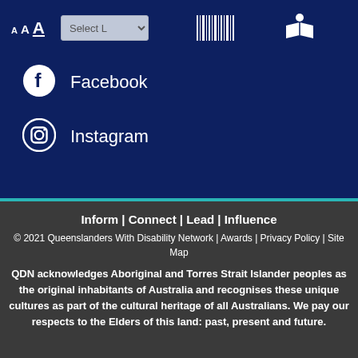[Figure (screenshot): Website header toolbar with font size controls (A A A), language selector dropdown (Select L), barcode/QR icon, and reader icon on dark navy background]
Facebook
Instagram
Inform | Connect | Lead | Influence
© 2021 Queenslanders With Disability Network | Awards | Privacy Policy | Site Map
QDN acknowledges Aboriginal and Torres Strait Islander peoples as the original inhabitants of Australia and recognises these unique cultures as part of the cultural heritage of all Australians. We pay our respects to the Elders of this land: past, present and future.